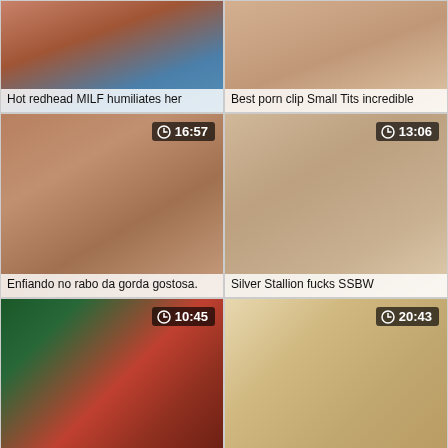[Figure (photo): Video thumbnail - Hot redhead MILF humiliates her]
Hot redhead MILF humiliates her
[Figure (photo): Video thumbnail - Best porn clip Small Tits incredible]
Best porn clip Small Tits incredible
[Figure (photo): Video thumbnail - Enfiando no rabo da gorda gostosa. Duration: 16:57]
Enfiando no rabo da gorda gostosa.
[Figure (photo): Video thumbnail - Silver Stallion fucks SSBW. Duration: 13:06]
Silver Stallion fucks SSBW
[Figure (photo): Video thumbnail - Tattooed MILF gets a hardcore fuck. Duration: 10:45]
Tattooed MILF gets a hardcore fuck
[Figure (photo): Video thumbnail - Jennifer Lawrence's Mom? Duration: 20:43]
Jennifer Lawrence's Mom?
[Figure (photo): Video thumbnail - Duration: 20:02]
[Figure (photo): Video thumbnail - Duration: 26:21]